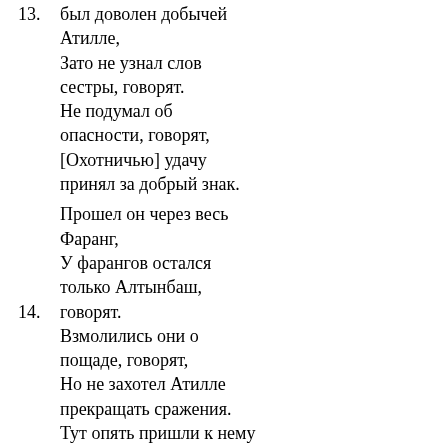был доволен добычей Атилле,
Зато не узнал слов сестры, говорят.
Не подумал об опасности, говорят,
[Охотничью] удачу принял за добрый знак.
Прошел он через весь Фаранг,
У фарангов остался только Алтынбаш,
говорят.
Взмолились они о пощаде, говорят,
Но не захотел Атилле прекращать сражения.
Тут опять пришли к нему юрганы.
"Тангра показывает - надо закончить поход",- говорят.
"Тангра уже дал тебе славу,- говорят.
Надо быть милостивым,